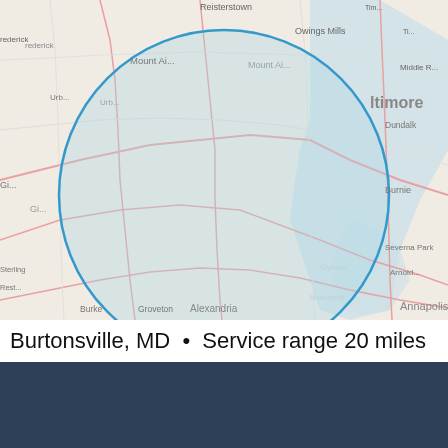[Figure (map): Map showing service area around Burtonsville, MD with a circular blue-outlined service range area covering approximately 20 miles radius, overlaid on an OpenStreetMap base map showing the Baltimore/Washington DC region including cities like Reisterstown, Owings Mills, Baltimore, Dundalk, Annapolis, Alexandria, Sterling, and others.]
Map data © OpenStreetMap contributors
Burtonsville, MD • Service range 20 miles
DOULAMATCH